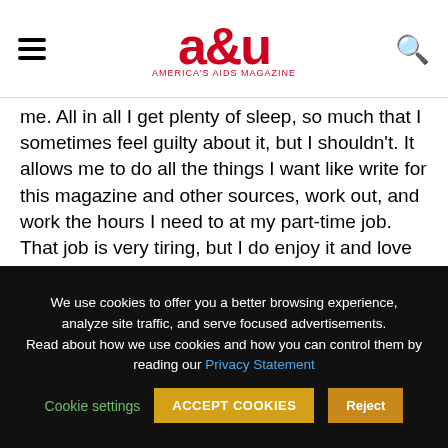[Figure (logo): a&u America's AIDS Magazine logo in red with hamburger menu on left and search icon on right]
me. All in all I get plenty of sleep, so much that I sometimes feel guilty about it, but I shouldn't. It allows me to do all the things I want like write for this magazine and other sources, work out, and work the hours I need to at my part-time job. That job is very tiring, but I do enjoy it and love its flexibility. I can work eight hours a week normally and come in additional hours when I need the money. I've doubled the eight for about a month now, and it's been tricky, but I get the same feeling of
We use cookies to offer you a better browsing experience, analyze site traffic, and serve focused advertisements. Read about how we use cookies and how you can control them by reading our Privacy Statement
Cookie settings  ACCEPT COOKIES  Reject